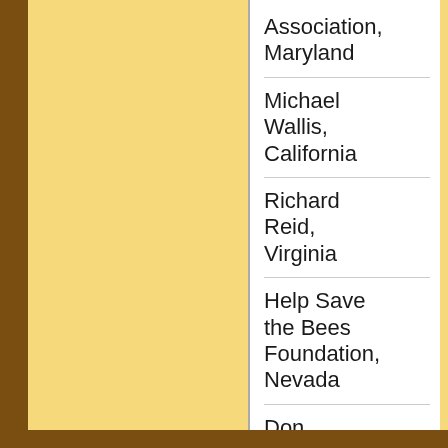Association, Maryland
Michael Wallis, California
Richard Reid, Virginia
Help Save the Bees Foundation, Nevada
Don Ringen
Jim Veitch, California
Dan Geer, Tennessee
Paulette & Jim Lynn, Iowa